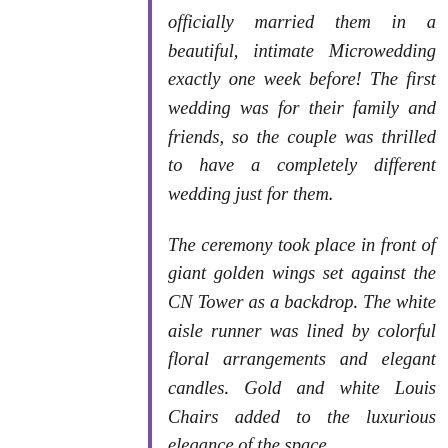officially married them in a beautiful, intimate Microwedding exactly one week before! The first wedding was for their family and friends, so the couple was thrilled to have a completely different wedding just for them.

The ceremony took place in front of giant golden wings set against the CN Tower as a backdrop. The white aisle runner was lined by colorful floral arrangements and elegant candles. Gold and white Louis Chairs added to the luxurious elegance of the space.

We later set up the head table against the windows over looking the Toronto waterfront and the CN Tower, with the giant gold wings. The tables were topped with iridescent